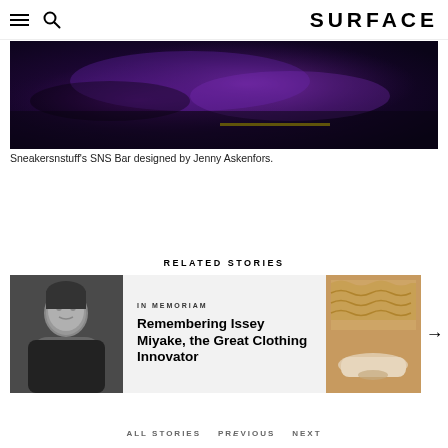SURFACE
[Figure (photo): Dark moody interior photo of Sneakersnstuff's SNS Bar, showing purple and blue ambient lighting over what appears to be a dark bar or lounge space with a yellow accent stripe]
Sneakersnstuff's SNS Bar designed by Jenny Askenfors.
RELATED STORIES
[Figure (photo): Black and white portrait photo of a man (Issey Miyake) in a dark top, looking to the side]
IN MEMORIAM
Remembering Issey Miyake, the Great Clothing Innovator
[Figure (photo): Interior photo of a warm-lit restaurant or lounge with white curved sofas and decorative wall panels]
ALL STORIES   PREVIOUS   NEXT